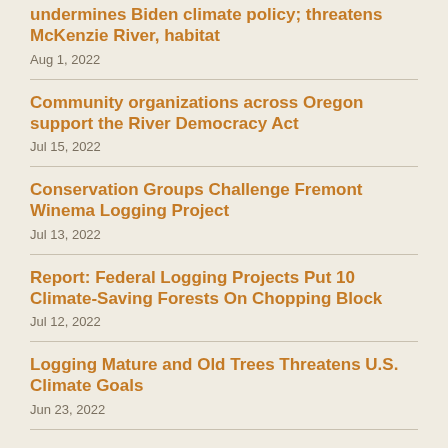undermines Biden climate policy; threatens McKenzie River, habitat
Aug 1, 2022
Community organizations across Oregon support the River Democracy Act
Jul 15, 2022
Conservation Groups Challenge Fremont Winema Logging Project
Jul 13, 2022
Report: Federal Logging Projects Put 10 Climate-Saving Forests On Chopping Block
Jul 12, 2022
Logging Mature and Old Trees Threatens U.S. Climate Goals
Jun 23, 2022